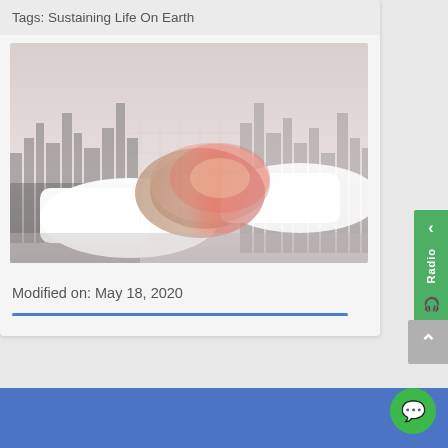Tags: Sustaining Life On Earth
[Figure (photo): Double-exposure style photo of two people shaking hands with a city skyline overlay. One person wears a white shirt sleeve, the other has a reddish/pink-tinted hand. The background is grayscale cityscape.]
Modified on: May 18, 2020